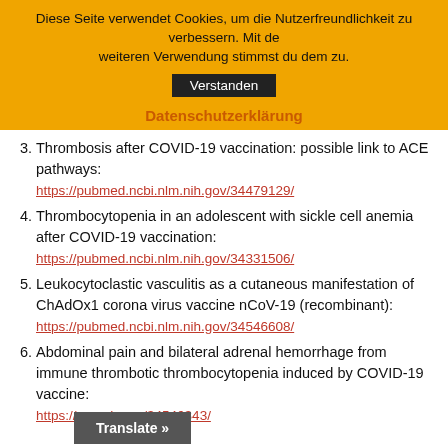Diese Seite verwendet Cookies, um die Nutzerfreundlichkeit zu verbessern. Mit de weiteren Verwendung stimmst du dem zu.
Verstanden
Datenschutzerklärung
3. Thrombosis after COVID-19 vaccination: possible link to ACE pathways: https://pubmed.ncbi.nlm.nih.gov/34479129/
4. Thrombocytopenia in an adolescent with sickle cell anemia after COVID-19 vaccination: https://pubmed.ncbi.nlm.nih.gov/34331506/
5. Leukocytoclastic vasculitis as a cutaneous manifestation of ChAdOx1 corona virus vaccine nCoV-19 (recombinant): https://pubmed.ncbi.nlm.nih.gov/34546608/
6. Abdominal pain and bilateral adrenal hemorrhage from immune thrombotic thrombocytopenia induced by COVID-19 vaccine: https://pubmed.ncbi.nlm.nih.gov/34546343/
Translate »